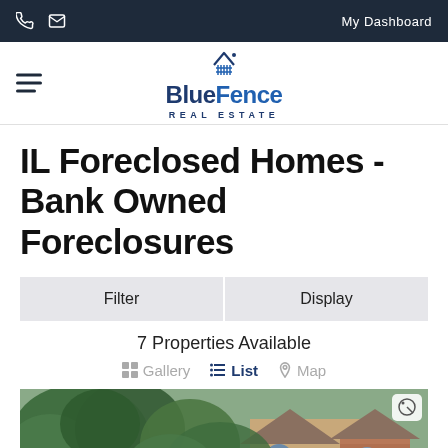My Dashboard
[Figure (logo): BlueFence Real Estate logo with house/fence icon above stylized text]
IL Foreclosed Homes - Bank Owned Foreclosures
Filter | Display
7 Properties Available
Gallery  List  Map
[Figure (photo): Exterior photo of a brick and stone house surrounded by large green trees]